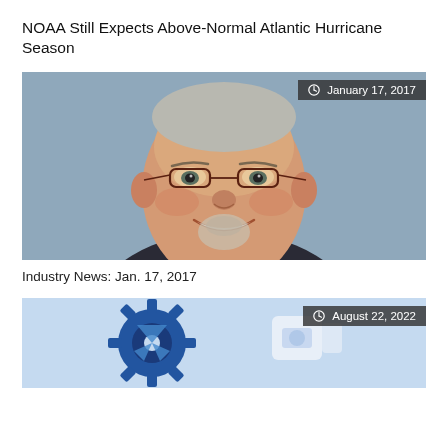NOAA Still Expects Above-Normal Atlantic Hurricane Season
[Figure (photo): Headshot of a smiling middle-aged man with glasses and a goatee, wearing a dark jacket. Badge overlay reads: January 17, 2017]
Industry News: Jan. 17, 2017
[Figure (photo): Partial image showing blue mechanical/industrial equipment on a light blue background. Badge overlay reads: August 22, 2022]